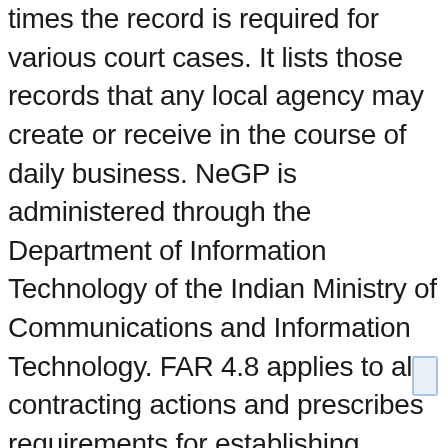times the record is required for various court cases. It lists those records that any local agency may create or receive in the course of daily business. NeGP is administered through the Department of Information Technology of the Indian Ministry of Communications and Information Technology. FAR 4.8 applies to all contracting actions and prescribes requirements for establishing, maintaining, and disposing of co... with the responsibility of preparing Record Retention Schedule common to all Ministries and Departments, so that there is uniformity in the retention schedule of records of common nature in the area of policy, establishment and house keeping created by the different Ministries/ Departments of Central Government. You can change your cookie settings at any time. One such project is 'eOffice'. This records retention schedule authorizes the destruction/transfer of public records documenting common functions and activities of state government agencies, including Universities and Community and